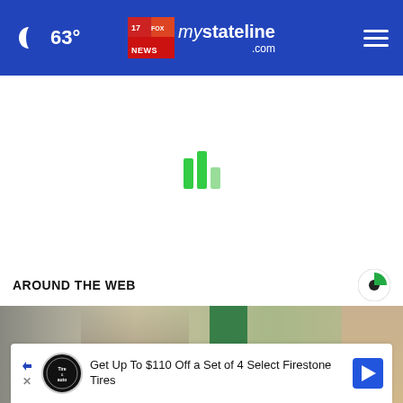63° mystateline.com — navigation header
[Figure (screenshot): Loading spinner with green bars in white content area]
AROUND THE WEB
[Figure (photo): Two men in suits standing in front of a green flag in an ornate room]
Get Up To $110 Off a Set of 4 Select Firestone Tires